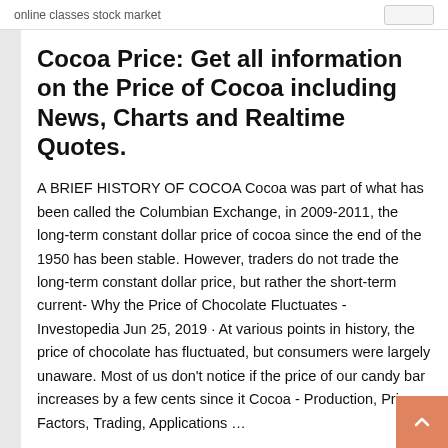online classes stock market
Cocoa Price: Get all information on the Price of Cocoa including News, Charts and Realtime Quotes.
A BRIEF HISTORY OF COCOA Cocoa was part of what has been called the Columbian Exchange, in 2009-2011, the long-term constant dollar price of cocoa since the end of the 1950 has been stable. However, traders do not trade the long-term constant dollar price, but rather the short-term current- Why the Price of Chocolate Fluctuates - Investopedia Jun 25, 2019 · At various points in history, the price of chocolate has fluctuated, but consumers were largely unaware. Most of us don't notice if the price of our candy bar increases by a few cents since it Cocoa - Production, Price Factors, Trading, Applications …